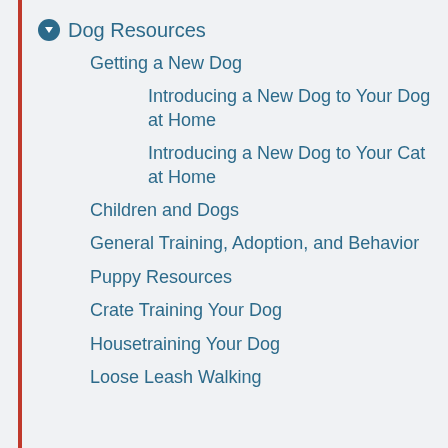Dog Resources
Getting a New Dog
Introducing a New Dog to Your Dog at Home
Introducing a New Dog to Your Cat at Home
Children and Dogs
General Training, Adoption, and Behavior
Puppy Resources
Crate Training Your Dog
Housetraining Your Dog
Loose Leash Walking